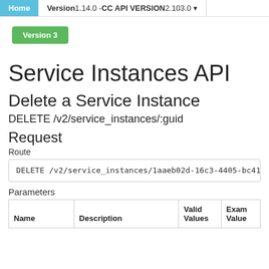Home | Version 1.14.0 - CC API VERSION 2.103.0
Version 3
Service Instances API
Delete a Service Instance
DELETE /v2/service_instances/:guid
Request
Route
DELETE /v2/service_instances/1aaeb02d-16c3-4405-bc41
Parameters
| Name | Description | Valid Values | Exam Value |
| --- | --- | --- | --- |